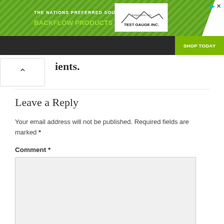[Figure (other): Banner advertisement for 'Test Gauge Inc.' — The Nations Preferred Source for Backflow Products & Services. Green background with diagonal stripes, road image, Test Gauge Inc. logo, and 'Shop Today' button.]
ients.
Leave a Reply
Your email address will not be published. Required fields are marked *
Comment *